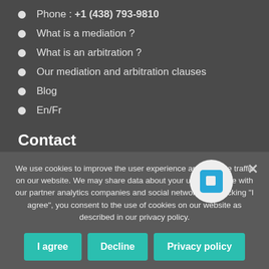Phone : +1 (438) 793-9810
What is a mediation ?
What is an arbitration ?
Our mediation and arbitration clauses
Blog
En/Fr
Contact
Contact us
Mediators access
Sign up
Sign in
We use cookies to improve the user experience and analyze traffic on our website. We may share data about your use of the site with our partner analytics companies and social networks. By clicking "I agree", you consent to the use of cookies on our website as described in our privacy policy.
I agree
Decline
Privacy policy